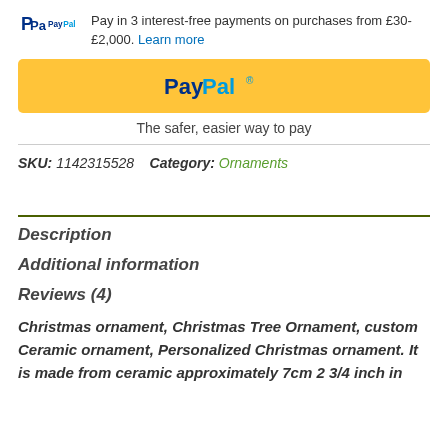PayPal Pay in 3 interest-free payments on purchases from £30-£2,000. Learn more
[Figure (other): PayPal payment button (yellow background with PayPal logo)]
The safer, easier way to pay
SKU: 1142315528    Category: Ornaments
Description
Additional information
Reviews (4)
Christmas ornament, Christmas Tree Ornament, custom Ceramic ornament, Personalized Christmas ornament. It is made from ceramic approximately 7cm 2 3/4 inch in